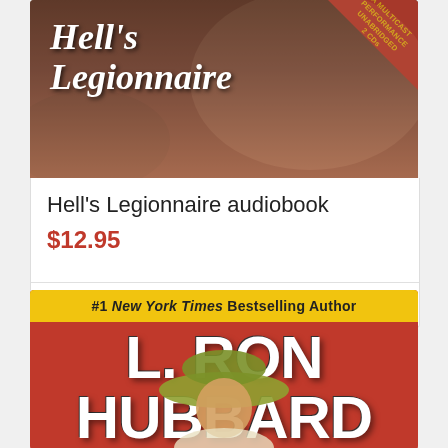[Figure (photo): Hell's Legionnaire audiobook cover - vintage pulp art with title text in italic white font and a red corner badge reading 'A Multicast Performance Unabridged 2 CDs']
Hell's Legionnaire audiobook
$12.95
Add to cart
Show Details
[Figure (photo): L. Ron Hubbard book cover with yellow banner at top reading '#1 New York Times Bestselling Author', large white text 'L. RON HUBBARD' on red background, with illustrated figure of man in pith helmet]